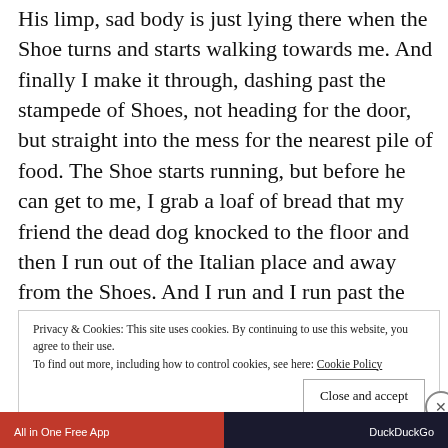His limp, sad body is just lying there when the Shoe turns and starts walking towards me. And finally I make it through, dashing past the stampede of Shoes, not heading for the door, but straight into the mess for the nearest pile of food. The Shoe starts running, but before he can get to me, I grab a loaf of bread that my friend the dead dog knocked to the floor and then I run out of the Italian place and away from the Shoes. And I run and I run past the hydrant and the mailbox all the way to the park and then under the shade of a great big tree, I eat.
Privacy & Cookies: This site uses cookies. By continuing to use this website, you agree to their use.
To find out more, including how to control cookies, see here: Cookie Policy
Close and accept
All in One Free App
DuckDuckGo